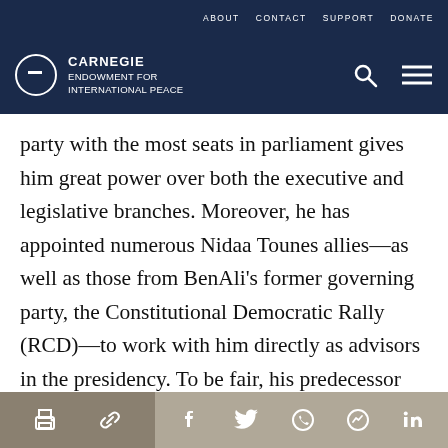ABOUT   CONTACT   SUPPORT   DONATE
[Figure (logo): Carnegie Endowment for International Peace logo with search and menu icons]
party with the most seats in parliament gives him great power over both the executive and legislative branches. Moreover, he has appointed numerous Nidaa Tounes allies—as well as those from BenAli's former governing party, the Constitutional Democratic Rally (RCD)—to work with him directly as advisors in the presidency. To be fair, his predecessor and electoral rival, Moncef Marzouki, used a similar practice, but his presidency did not
Print | Link | Facebook | Twitter | WhatsApp | Messenger | LinkedIn